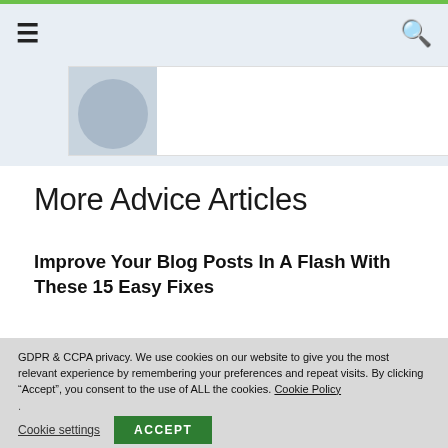☰  🔍
[Figure (photo): Partial image strip showing a person avatar/photo on white background]
More Advice Articles
Improve Your Blog Posts In A Flash With These 15 Easy Fixes
GDPR & CCPA privacy. We use cookies on our website to give you the most relevant experience by remembering your preferences and repeat visits. By clicking "Accept", you consent to the use of ALL the cookies. Cookie Policy
.
Cookie settings   ACCEPT